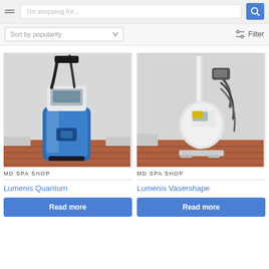I'm shopping for... Sort by popularity Filter
[Figure (photo): A blue medical aesthetic device (Lumenis Quantum) on a wooden floor against a white wall background]
MD SPA SHOP
Lumenis Quantum
Read more
[Figure (photo): A white medical aesthetic device (Lumenis Vasershape) on a wooden floor against a white wall background]
MD SPA SHOP
Lumenis Vasershape
Read more